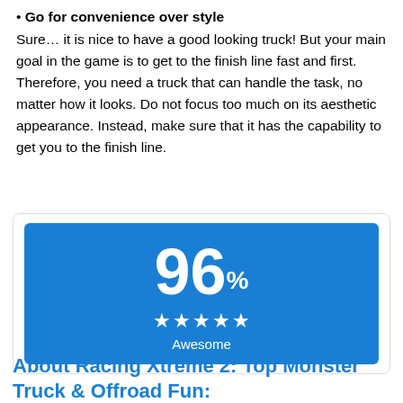Go for convenience over style — Sure… it is nice to have a good looking truck! But your main goal in the game is to get to the finish line fast and first. Therefore, you need a truck that can handle the task, no matter how it looks. Do not focus too much on its aesthetic appearance. Instead, make sure that it has the capability to get you to the finish line.
[Figure (infographic): Blue rating card showing 96% score with 5 stars and label 'Awesome']
About Racing Xtreme 2: Top Monster Truck & Offroad Fun: